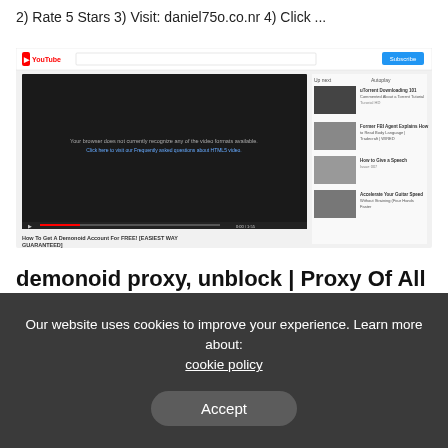2) Rate 5 Stars 3) Visit: daniel75o.co.nr 4) Click ...
[Figure (screenshot): Screenshot of a YouTube page showing a video titled 'How To Get A Demonoid Account For FREE! [EASIEST WAY GUARANTEED]' with 26,226 views, with related video thumbnails on the right sidebar.]
demonoid proxy, unblock | Proxy Of All Websites
Apr 3, 2015 – Demonoid is probably one of the most old torrent trackers in the world. ... To download internal torrents users have to register and login.
Our website uses cookies to improve your experience. Learn more about: cookie policy
Accept